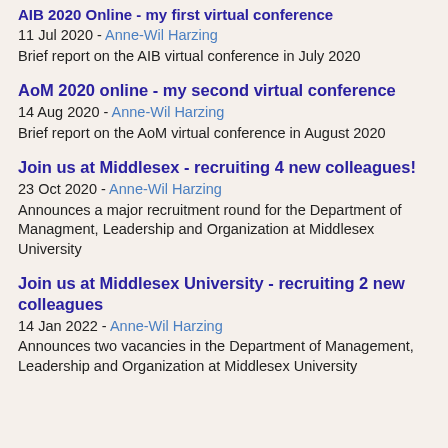AIB 2020 Online - my first virtual conference
11 Jul 2020 - Anne-Wil Harzing
Brief report on the AIB virtual conference in July 2020
AoM 2020 online - my second virtual conference
14 Aug 2020 - Anne-Wil Harzing
Brief report on the AoM virtual conference in August 2020
Join us at Middlesex - recruiting 4 new colleagues!
23 Oct 2020 - Anne-Wil Harzing
Announces a major recruitment round for the Department of Managment, Leadership and Organization at Middlesex University
Join us at Middlesex University - recruiting 2 new colleagues
14 Jan 2022 - Anne-Wil Harzing
Announces two vacancies in the Department of Management, Leadership and Organization at Middlesex University